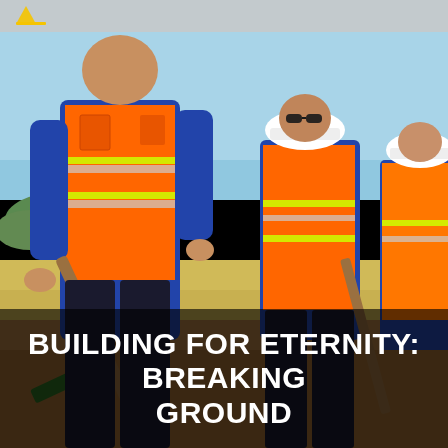[Figure (photo): Three construction workers in orange high-visibility safety vests with reflective strips and white hard hats are performing a groundbreaking ceremony, holding shovels and digging into the dirt in an outdoor field under a clear blue sky.]
BUILDING FOR ETERNITY: BREAKING GROUND